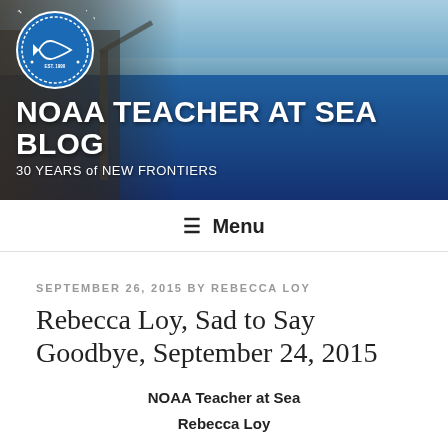[Figure (photo): NOAA Teacher at Sea blog header photo showing researchers on a ship deck lowering equipment into deep blue ocean water, with mountains visible in the background. NOAA Teacher at Sea circular logo in top left.]
NOAA TEACHER AT SEA BLOG
30 YEARS of NEW FRONTIERS
≡ Menu
SEPTEMBER 26, 2015 BY REBECCA LOY
Rebecca Loy, Sad to Say Goodbye, September 24, 2015
NOAA Teacher at Sea
Rebecca Loy